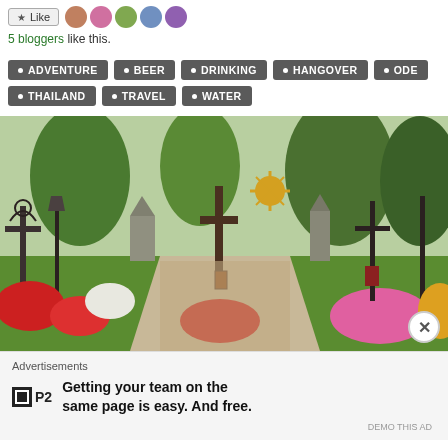5 bloggers like this.
ADVENTURE
BEER
DRINKING
HANGOVER
ODE
THAILAND
TRAVEL
WATER
[Figure (photo): A cemetery or memorial garden with decorative iron crosses, lanterns, colorful flowers (red, pink, white), green grass, stone monuments, and trees in the background. The scene is bright and ornate with elaborate grave decorations.]
Advertisements
Getting your team on the same page is easy. And free.